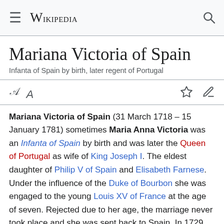Wikipedia
Mariana Victoria of Spain
Infanta of Spain by birth, later regent of Portugal
Mariana Victoria of Spain (31 March 1718 – 15 January 1781) sometimes Maria Anna Victoria was an Infanta of Spain by birth and was later the Queen of Portugal as wife of King Joseph I. The eldest daughter of Philip V of Spain and Elisabeth Farnese. Under the influence of the Duke of Bourbon she was engaged to the young Louis XV of France at the age of seven. Rejected due to her age, the marriage never took place and she was sent back to Spain. In 1729 she was married to the son of John V of Portugal. Her husband became the King on 31 July 1750